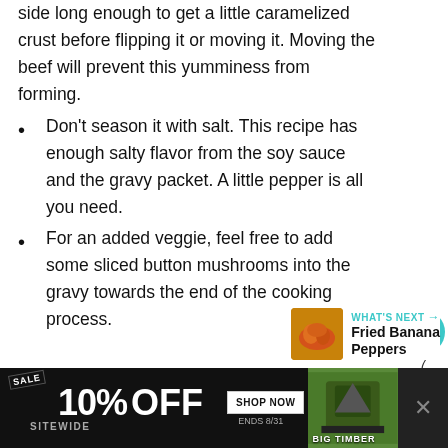side long enough to get a little caramelized crust before flipping it or moving it. Moving the beef will prevent this yumminess from forming.
Don't season it with salt. This recipe has enough salty flavor from the soy sauce and the gravy packet. A little pepper is all you need.
For an added veggie, feel free to add some sliced button mushrooms into the gravy towards the end of the cooking process.
[Figure (other): What's Next navigation widget showing Fried Banana Peppers with thumbnail]
[Figure (other): Advertisement banner: SALE 10% OFF SITEWIDE, SHOP NOW ENDS 8/31, BIG TIMBER product image]